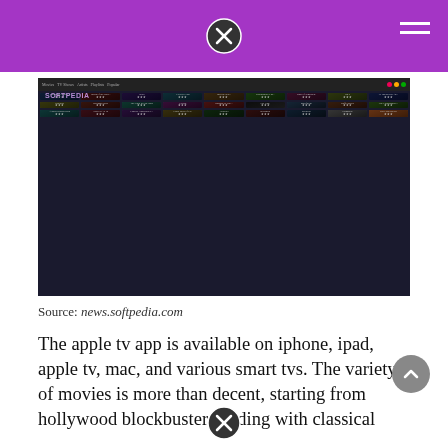[Figure (screenshot): Screenshot of a movie streaming application (Plex/similar) showing a grid of movie poster thumbnails in rows, with navigation bar at top. Movies include titles visible such as Guardians of the Galaxy, 22 Jump Street, Frozen, Sex Tape, Maleficent, Fluffy Movie, Godzilla, Boyhood, Neighbors, Divergent, and others. Interface has dark theme with purple accents. SOFTPEDIA watermark visible.]
Source: news.softpedia.com
The apple tv app is available on iphone, ipad, apple tv, mac, and various smart tvs. The variety of movies is more than decent, starting from hollywood blockbusters ending with classical